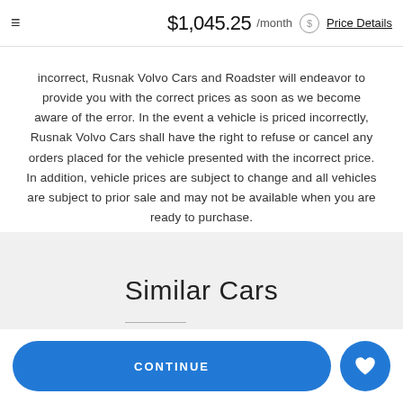$1,045.25 /month Price Details
incorrect, Rusnak Volvo Cars and Roadster will endeavor to provide you with the correct prices as soon as we become aware of the error. In the event a vehicle is priced incorrectly, Rusnak Volvo Cars shall have the right to refuse or cancel any orders placed for the vehicle presented with the incorrect price. In addition, vehicle prices are subject to change and all vehicles are subject to prior sale and may not be available when you are ready to purchase.
Similar Cars